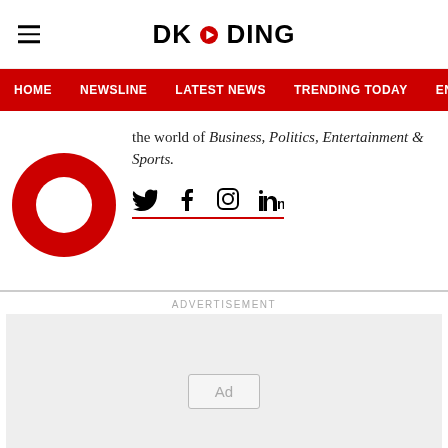DKODING
[Figure (screenshot): Navigation bar with red background showing menu items: HOME, NEWSLINE, LATEST NEWS, TRENDING TODAY, ENT]
the world of Business, Politics, Entertainment & Sports.
[Figure (other): Red donut/ring logo of DKODING on white background]
[Figure (other): Social media icons: Twitter, Facebook, Instagram, LinkedIn with red underline]
ADVERTISEMENT
[Figure (other): Advertisement placeholder box with 'Ad' label in center]